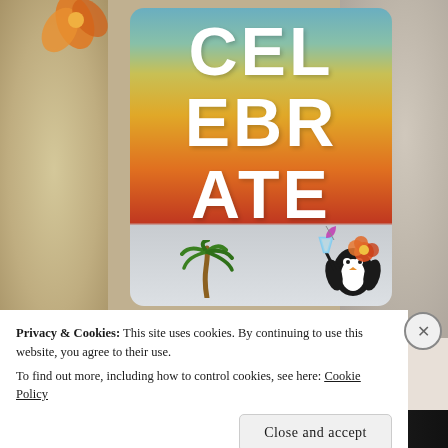[Figure (photo): A handmade greeting card spelling CELEBRATE in large white block letters on a colorful tie-dye style background with sunset gradient colors (blue, yellow, orange, red). A cartoon penguin holding a tropical drink and wearing a hibiscus flower is at the bottom right of the card, with a palm tree at the bottom. The card is photographed on a sandy/carpeted surface with orange flowers and granite visible.]
Privacy & Cookies: This site uses cookies. By continuing to use this website, you agree to their use.
To find out more, including how to control cookies, see here: Cookie Policy
Close and accept
email with more privacy.